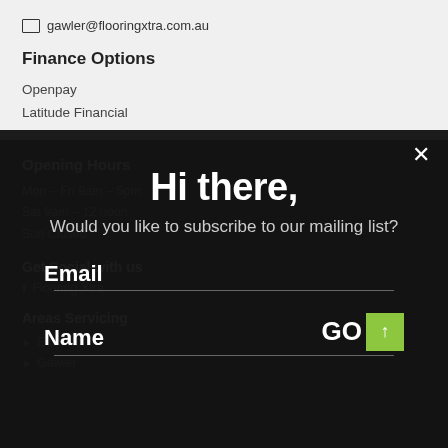gawler@flooringxtra.com.au
Finance Options
Openpay
Latitude Financial
Opening Hours
Mon – Fri 9am – 5pm
Sat 9am – 12 noon
Sun Closed
Get Social with us
Flooring Xtra
Areas Servicing
Evanston
Gawler
Hi there,
Would you like to subscribe to our mailing list?
Email
Name
GO